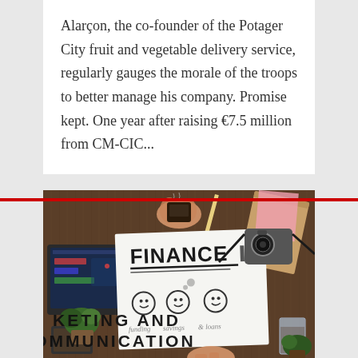Alarçon, the co-founder of the Potager City fruit and vegetable delivery service, regularly gauges the morale of the troops to better manage his company. Promise kept. One year after raising €7.5 million from CM-CIC...
[Figure (photo): Overhead view of a desk with a laptop, notebook with FINANCE written on it and smiley faces drawn, camera, kraft notebook, plants, a glass of water, and hands holding a cup of coffee. Text overlaid at the bottom reads 'MARKETING AND COMMUNICATION'.]